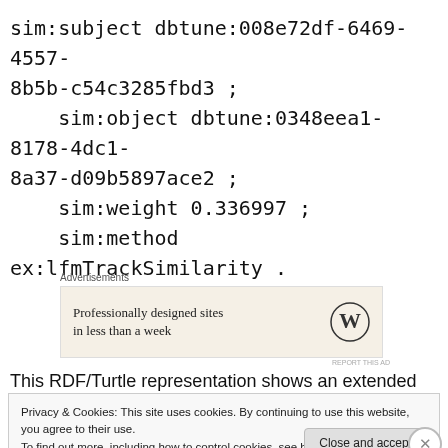sim:subject dbtune:008e72df-6469-4557-8b5b-c54c3285fbd3 ;
    sim:object dbtune:0348eea1-8178-4dc1-8a37-d09b5897ace2 ;
    sim:weight 0.336997 ;
    sim:method ex:lfmTrackSimilarity .
[Figure (other): WordPress advertisement banner: 'Professionally designed sites in less than a week' with WordPress logo]
This RDF/Turtle representation shows an extended music
Privacy & Cookies: This site uses cookies. By continuing to use this website, you agree to their use.
To find out more, including how to control cookies, see here: Cookie Policy